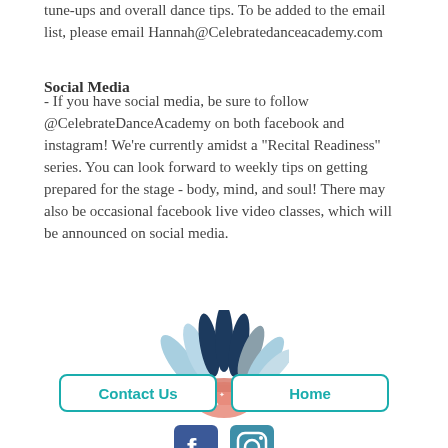tune-ups and overall dance tips. To be added to the email list, please email Hannah@Celebratedanceacademy.com
Social Media
- If you have social media, be sure to follow @CelebrateDanceAcademy on both facebook and instagram! We're currently amidst a "Recital Readiness" series. You can look forward to weekly tips on getting prepared for the stage - body, mind, and soul! There may also be occasional facebook live video classes, which will be announced on social media.
[Figure (illustration): Decorative plant/succulent illustration with dark blue, light blue, grey leaves and a pink pot with white star pattern]
Contact Us
Home
[Figure (logo): Facebook and Instagram social media icons]